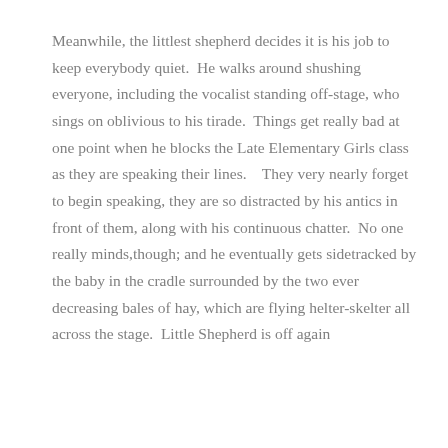Meanwhile, the littlest shepherd decides it is his job to keep everybody quiet.  He walks around shushing everyone, including the vocalist standing off-stage, who sings on oblivious to his tirade.  Things get really bad at one point when he blocks the Late Elementary Girls class as they are speaking their lines.   They very nearly forget to begin speaking, they are so distracted by his antics in front of them, along with his continuous chatter.  No one really minds,though; and he eventually gets sidetracked by the baby in the cradle surrounded by the two ever decreasing bales of hay, which are flying helter-skelter all across the stage.  Little Shepherd is off again